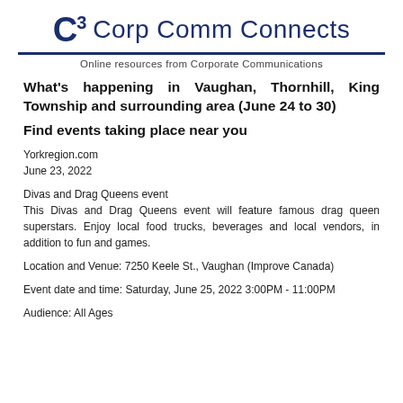[Figure (logo): C3 Corp Comm Connects logo with blue C3 icon and text]
Online resources from Corporate Communications
What's happening in Vaughan, Thornhill, King Township and surrounding area (June 24 to 30)
Find events taking place near you
Yorkregion.com
June 23, 2022
Divas and Drag Queens event
This Divas and Drag Queens event will feature famous drag queen superstars. Enjoy local food trucks, beverages and local vendors, in addition to fun and games.
Location and Venue: 7250 Keele St., Vaughan (Improve Canada)
Event date and time: Saturday, June 25, 2022 3:00PM - 11:00PM
Audience: All Ages